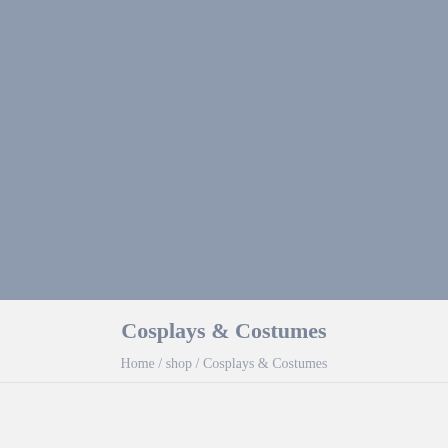[Figure (photo): Large hero image placeholder with blue-grey solid color background]
Cosplays & Costumes
Home / shop / Cosplays & Costumes